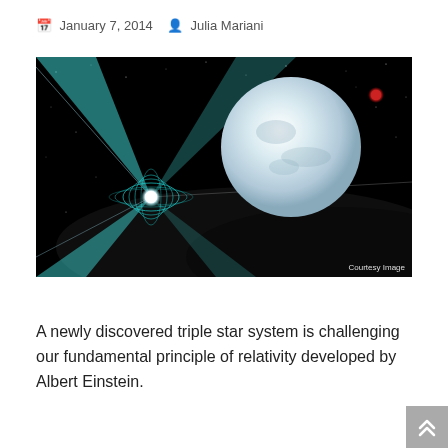January 7, 2014   Julia Mariani
[Figure (illustration): Artist illustration of a pulsar/neutron star with teal magnetic field beams sweeping across a dark star field, alongside a large white dwarf or planet, with a small red star visible in the upper right. Text 'Courtesy Image' appears in the lower right corner.]
A newly discovered triple star system is challenging our fundamental principle of relativity developed by Albert Einstein.